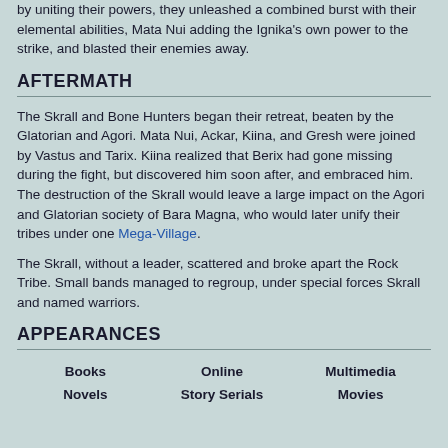by uniting their powers, they unleashed a combined burst with their elemental abilities, Mata Nui adding the Ignika's own power to the strike, and blasted their enemies away.
AFTERMATH
The Skrall and Bone Hunters began their retreat, beaten by the Glatorian and Agori. Mata Nui, Ackar, Kiina, and Gresh were joined by Vastus and Tarix. Kiina realized that Berix had gone missing during the fight, but discovered him soon after, and embraced him. The destruction of the Skrall would leave a large impact on the Agori and Glatorian society of Bara Magna, who would later unify their tribes under one Mega-Village.
The Skrall, without a leader, scattered and broke apart the Rock Tribe. Small bands managed to regroup, under special forces Skrall and named warriors.
APPEARANCES
| Books | Online | Multimedia |
| --- | --- | --- |
| Novels | Story Serials | Movies |